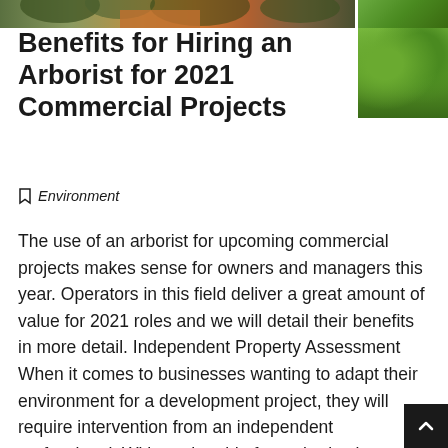[Figure (photo): Top banner image showing tree/nature scene with orange equipment, and a thumbnail image of green foliage in the top right corner]
Benefits for Hiring an Arborist for 2021 Commercial Projects
Environment
The use of an arborist for upcoming commercial projects makes sense for owners and managers this year. Operators in this field deliver a great amount of value for 2021 roles and we will detail their benefits in more detail. Independent Property Assessment When it comes to businesses wanting to adapt their environment for a development project, they will require intervention from an independent professional. Without the aid of an arborist, internal staff members could be at fault for expediting the process in the hope that the brand will be able